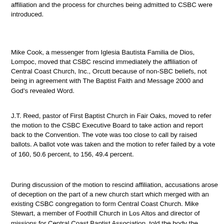affiliation and the process for churches being admitted to CSBC were introduced.
Mike Cook, a messenger from Iglesia Bautista Familia de Dios, Lompoc, moved that CSBC rescind immediately the affiliation of Central Coast Church, Inc., Orcutt because of non-SBC beliefs, not being in agreement with The Baptist Faith and Message 2000 and God's revealed Word.
J.T. Reed, pastor of First Baptist Church in Fair Oaks, moved to refer the motion to the CSBC Executive Board to take action and report back to the Convention. The vote was too close to call by raised ballots. A ballot vote was taken and the motion to refer failed by a vote of 160, 50.6 percent, to 156, 49.4 percent.
During discussion of the motion to rescind affiliation, accusations arose of deception on the part of a new church start which merged with an existing CSBC congregation to form Central Coast Church. Mike Stewart, a member of Foothill Church in Los Altos and director of missions for Central Coast Baptist Association, told the body the association had approached the CSBC Executive Board about taking